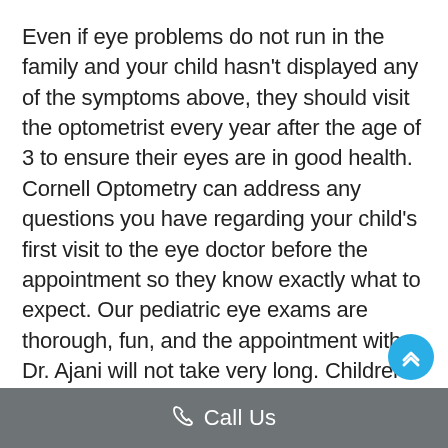Even if eye problems do not run in the family and your child hasn't displayed any of the symptoms above, they should visit the optometrist every year after the age of 3 to ensure their eyes are in good health. Cornell Optometry can address any questions you have regarding your child's first visit to the eye doctor before the appointment so they know exactly what to expect. Our pediatric eye exams are thorough, fun, and the appointment with Dr. Ajani will not take very long. Children need to experience their adventures in high definition and we are here to make sure they do!
Call Us